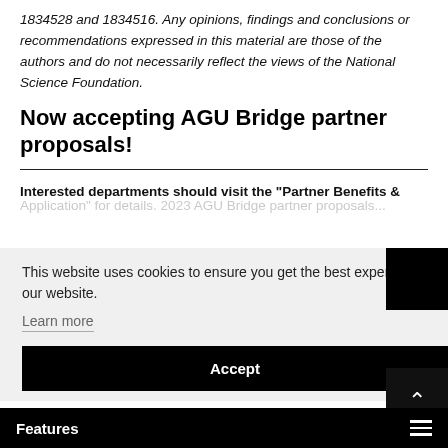1834528 and 1834516. Any opinions, findings and conclusions or recommendations expressed in this material are those of the authors and do not necessarily reflect the views of the National Science Foundation.
Now accepting AGU Bridge partner proposals!
Interested departments should visit the "Partner Benefits & Application" for details. 2023 AGU Bridge partner proposals...
This website uses cookies to ensure you get the best experience on our website.
Learn more
Accept
Features